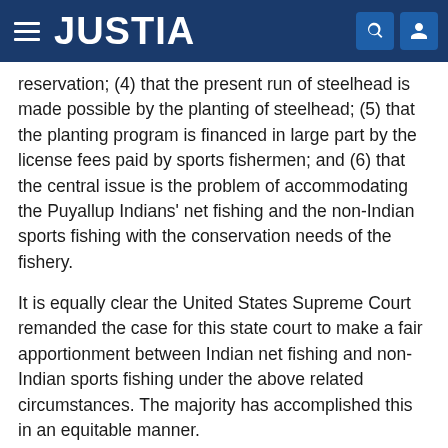JUSTIA
reservation; (4) that the present run of steelhead is made possible by the planting of steelhead; (5) that the planting program is financed in large part by the license fees paid by sports fishermen; and (6) that the central issue is the problem of accommodating the Puyallup Indians' net fishing and the non-Indian sports fishing with the conservation needs of the fishery.
It is equally clear the United States Supreme Court remanded the case for this state court to make a fair apportionment between Indian net fishing and non-Indian sports fishing under the above related circumstances. The majority has accomplished this in an equitable manner.
I am convinced the Supreme Court did not direct this court to resolve the apportionment problem as an empty gesture. It is only logical to assume that once a